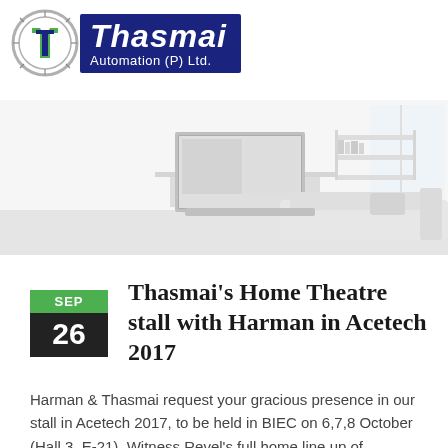[Figure (logo): Thasmai Automation (P) Ltd. logo with circular icon and dark blue text block]
[Figure (photo): Modern minimalist living room interior with TV on wall, bookshelf, and sofa — light grey tones]
Thasmai's Home Theatre stall with Harman in Acetech 2017
Harman & Thasmai request your gracious presence in our stall in Acetech 2017, to be held in BIEC on 6,7,8 October (Hall 3, E-21). Witness Revel's full home line up of speakers as well as a jaw dropping JBL Synthesis